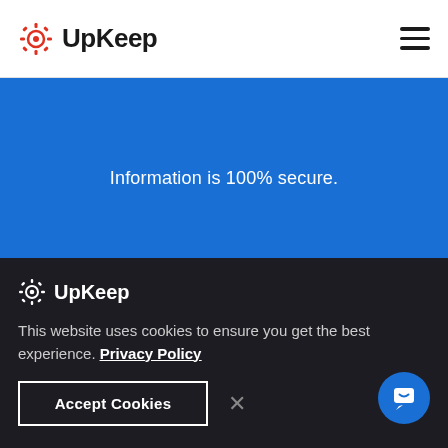UpKeep
Information is 100% secure.
[Figure (logo): UpKeep logo in white on dark background in cookie consent banner]
This website uses cookies to ensure you get the best experience. Privacy Policy
Accept Cookies